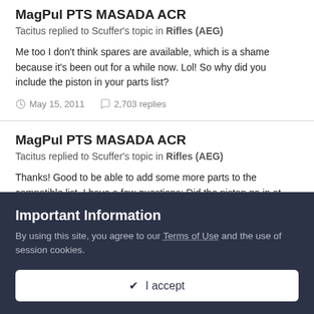MagPul PTS MASADA ACR
Tacitus replied to Scuffer's topic in Rifles (AEG)
Me too I don't think spares are available, which is a shame because it's been out for a while now. Lol! So why did you include the piston in your parts list?
May 15, 2011   2,703 replies
MagPul PTS MASADA ACR
Tacitus replied to Scuffer's topic in Rifles (AEG)
Thanks! Good to be able to add some more parts to the compatible list. I have a few questions: Did the piston go in at all? If so, specifically what modification was needed? If
Important Information
By using this site, you agree to our Terms of Use and the use of session cookies.
✔ I accept